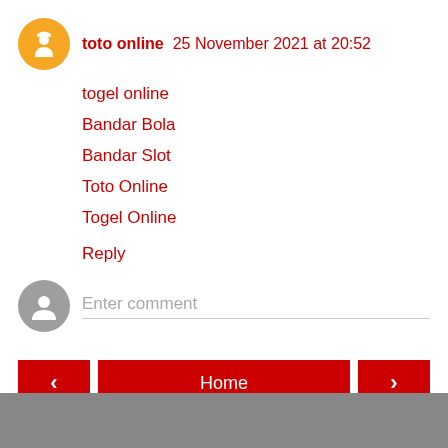toto online  25 November 2021 at 20:52
togel online
Bandar Bola
Bandar Slot
Toto Online
Togel Online
Reply
Enter comment
Home
View web version